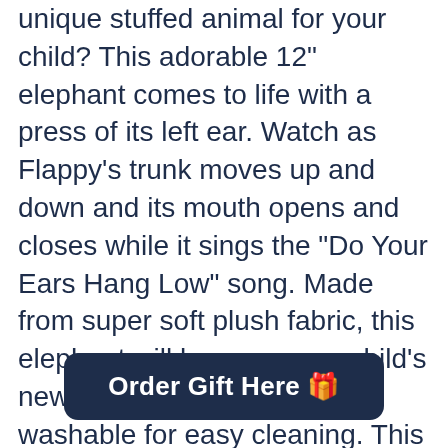unique stuffed animal for your child? This adorable 12" elephant comes to life with a press of its left ear. Watch as Flappy's trunk moves up and down and its mouth opens and closes while it sings the "Do Your Ears Hang Low" song. Made from super soft plush fabric, this elephant will become your child's new best friend. Surface-washable for easy cleaning. This gift for children with asthma is sure to be a hit!
Order Gift Here 🎁